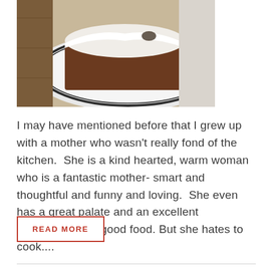[Figure (photo): A piece of cake or bread with white cream/frosting on top, served on a white plate with a dark rim, placed on a light cloth surface.]
I may have mentioned before that I grew up with a mother who wasn't really fond of the kitchen.  She is a kind hearted, warm woman who is a fantastic mother- smart and thoughtful and funny and loving.  She even has a great palate and an excellent appreciation for good food. But she hates to cook....
READ MORE